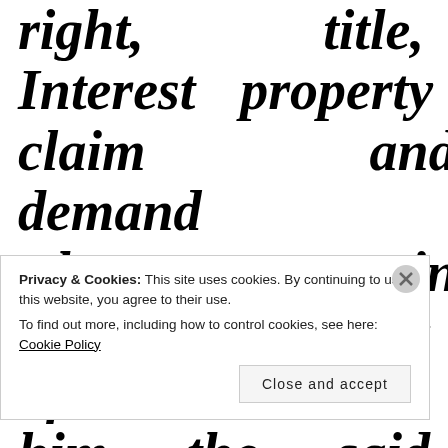and all the Estate right, title, Interest property claim and demand whatsoever in Law or Equity of him the said John Mitchell Senʳ of in and to the
Privacy & Cookies: This site uses cookies. By continuing to use this website, you agree to their use. To find out more, including how to control cookies, see here: Cookie Policy